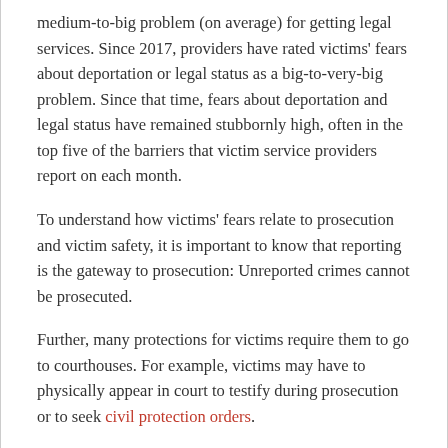medium-to-big problem (on average) for getting legal services. Since 2017, providers have rated victims' fears about deportation or legal status as a big-to-very-big problem. Since that time, fears about deportation and legal status have remained stubbornly high, often in the top five of the barriers that victim service providers report on each month.
To understand how victims' fears relate to prosecution and victim safety, it is important to know that reporting is the gateway to prosecution: Unreported crimes cannot be prosecuted.
Further, many protections for victims require them to go to courthouses. For example, victims may have to physically appear in court to testify during prosecution or to seek civil protection orders.
News in 2017 and 2018 that ICE was showing up at